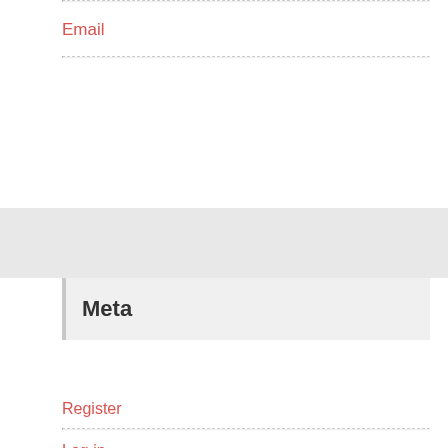Email
Meta
Register
Log in
Entries feed
Comments feed
WordPress.org